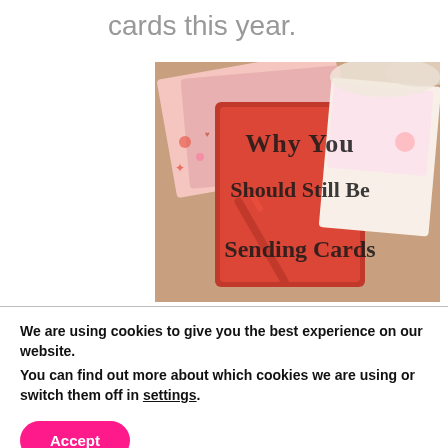cards this year.
[Figure (photo): Photo of Valentine's Day greeting cards on a wooden surface with a red pen, overlaid with decorative text reading 'Why You Should Still Be Sending Cards']
We are using cookies to give you the best experience on our website.
You can find out more about which cookies we are using or switch them off in settings.
Accept